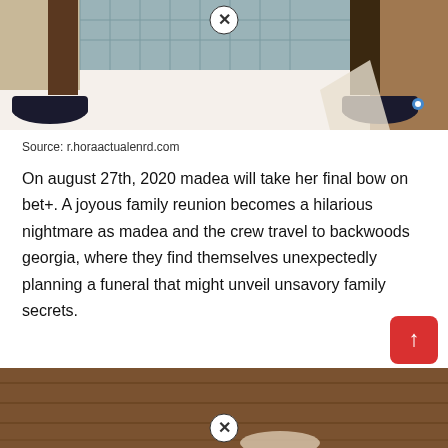[Figure (photo): Photo showing legs and feet of two people wearing dark flat shoes, seated, with luggage or furniture visible in background]
Source: r.horaactualenrd.com
On august 27th, 2020 madea will take her final bow on bet+. A joyous family reunion becomes a hilarious nightmare as madea and the crew travel to backwoods georgia, where they find themselves unexpectedly planning a funeral that might unveil unsavory family secrets.
[Figure (photo): Photo showing a wooden door or panel, partial view from bottom of page]